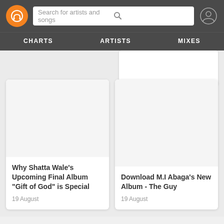Search for artists and songs  CHARTS  ARTISTS  MIXES
[Figure (screenshot): Partial white card at top right, cropped]
Why Shatta Wale's Upcoming Final Album "Gift of God" is Special
19 August
Download M.I Abaga's New Album - The Guy
19 August